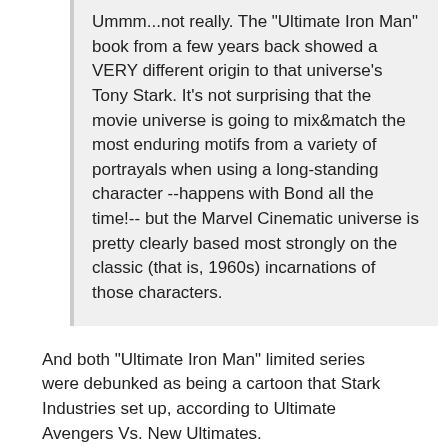Ummm...not really. The "Ultimate Iron Man" book from a few years back showed a VERY different origin to that universe's Tony Stark. It's not surprising that the movie universe is going to mix&match the most enduring motifs from a variety of portrayals when using a long-standing character --happens with Bond all the time!-- but the Marvel Cinematic universe is pretty clearly based most strongly on the classic (that is, 1960s) incarnations of those characters.
And both "Ultimate Iron Man" limited series were debunked as being a cartoon that Stark Industries set up, according to Ultimate Avengers Vs. New Ultimates.
BeatlesSansEarmuffs  –  May 2013   Posts: 3,461
I think I'll stick with the version that's never NEEDED to be